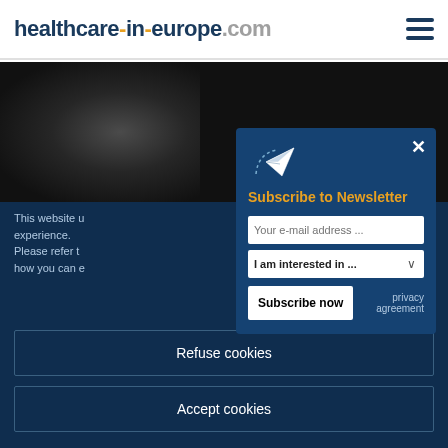healthcare-in-europe.com
[Figure (screenshot): Dark grayscale brain scan / medical image in background]
This website ... experience. Please refer t... how you can e...
[Figure (infographic): Newsletter subscription modal popup with paper plane icon, title 'Subscribe to Newsletter', email input, interest dropdown, Subscribe now button, and privacy agreement link]
Refuse cookies
Accept cookies